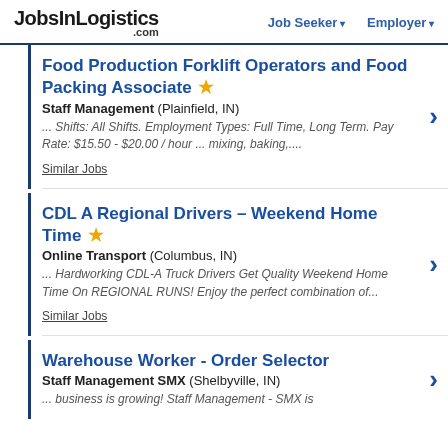JobsInLogistics.com | Job Seeker | Employer
Food Production Forklift Operators and Food Packing Associate
Staff Management (Plainfield, IN)
... Shifts: All Shifts. Employment Types: Full Time, Long Term. Pay Rate: $15.50 - $20.00 / hour ... mixing, baking,...
Similar Jobs
CDL A Regional Drivers – Weekend Home Time
Online Transport (Columbus, IN)
... Hardworking CDL-A Truck Drivers Get Quality Weekend Home Time On REGIONAL RUNS! Enjoy the perfect combination of...
Similar Jobs
Warehouse Worker - Order Selector
Staff Management SMX (Shelbyville, IN)
... business is growing! Staff Management - SMX is